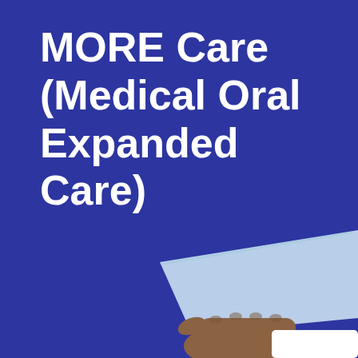MORE Care (Medical Oral Expanded Care)
[Figure (illustration): Illustration of a hand holding or presenting a document/dental card, with a light blue paper/card visible, shown at the bottom right of the page against a dark blue background.]